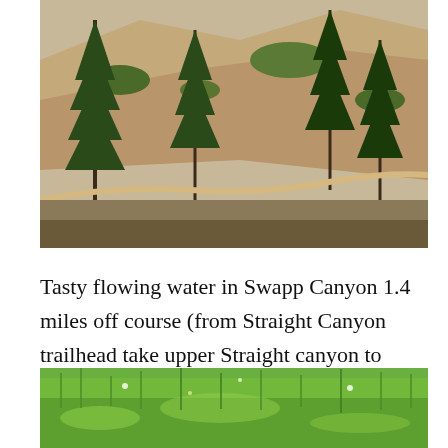[Figure (photo): Mountain hillside with pine trees and exposed sandy/rocky terrain, viewed from above]
Tasty flowing water in Swapp Canyon 1.4 miles off course (from Straight Canyon trailhead take upper Straight canyon to Swapp Canyon).
[Figure (photo): Green meadow with tall grass and wildflowers, partial view]